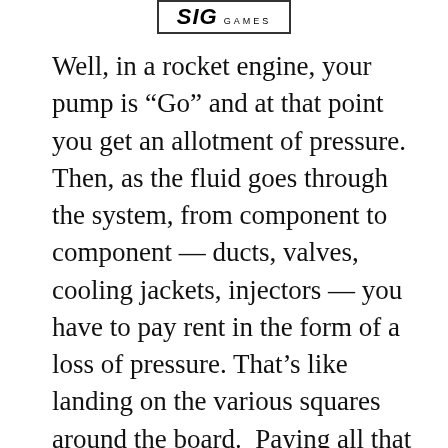[Figure (logo): Partial logo image at top center showing stylized text and 'GAMES' label inside a bordered box]
Well, in a rocket engine, your pump is “Go” and at that point you get an allotment of pressure. Then, as the fluid goes through the system, from component to component — ducts, valves, cooling jackets, injectors — you have to pay rent in the form of a loss of pressure. That’s like landing on the various squares around the board. Paying all that rent is just fine. You can’t really avoid it. But you have to make sure that you save enough money to stay at the hotel on Boardwalk in the end without going bankrupt. In other words, you need to get your propellants into the chamber at the residual pressure that you desire. Here’s a